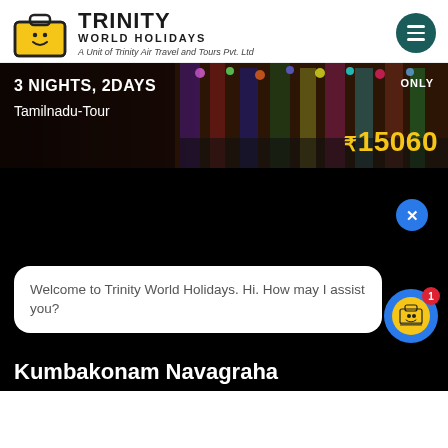TRINITY WORLD HOLIDAYS — A Unit of Trinity Air Travel and Tours Pvt. Ltd
[Figure (screenshot): Tour banner showing 3 NIGHTS, 2DAYS Tamilnadu-Tour ONLY ₹15060 over a decorative lit background]
[Figure (screenshot): Black section with chat widget showing 'Welcome to Trinity World Holidays. Hi. How may I assist you?' with close (X) button and chat icon with badge 1]
Kumbakonam Navagraha